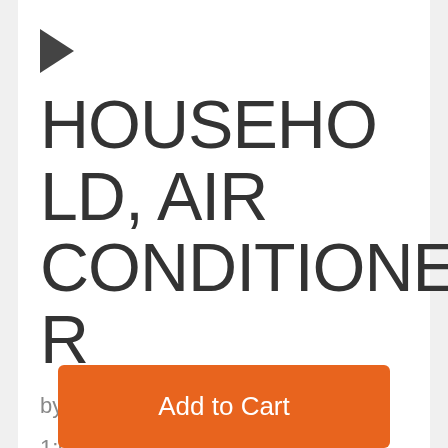▶ HOUSEHOLD, AIR CONDITIONER
by Soundideas  |  wav  |  1:04  |  ℹ
Subscribe $1
Add to Cart